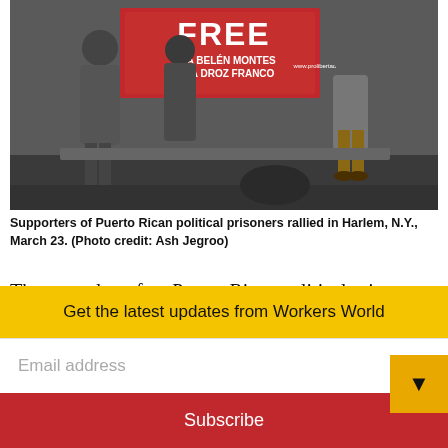[Figure (photo): Supporters of Puerto Rican political prisoners holding a banner at a rally in Harlem, NY on March 23. The banner reads 'Ana Belen Montes, Nina Droz Franco' with 'www.prolibertad.org' visible.]
Supporters of Puerto Rican political prisoners rallied in Harlem, N.Y., March 23. (Photo credit: Ash Jegroo)
The struggle to free Puerto Rican political prisoners Ana Belén Montes and Nina Alejandra Droz Franco continues.
On March 23 the ProLibertad Freedom Campaign held a Freedom March in Harlem
Get the latest updates from Workers World
Email address
Subscribe